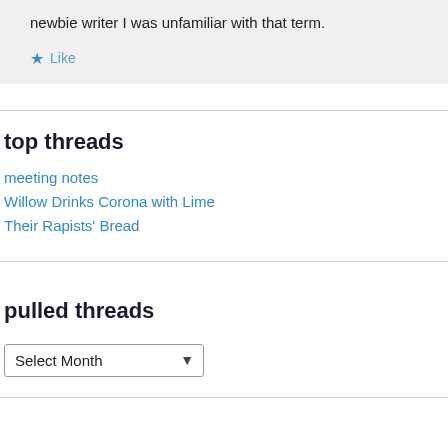newbie writer I was unfamiliar with that term.
★ Like
top threads
meeting notes
Willow Drinks Corona with Lime
Their Rapists' Bread
pulled threads
Select Month